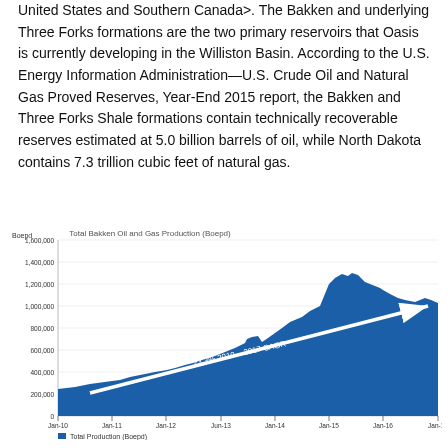United States and Southern Canada>. The Bakken and underlying Three Forks formations are the two primary reservoirs that Oasis is currently developing in the Williston Basin. According to the U.S. Energy Information Administration—U.S. Crude Oil and Natural Gas Proved Reserves, Year-End 2015 report, the Bakken and Three Forks Shale formations contain technically recoverable reserves estimated at 5.0 billion barrels of oil, while North Dakota contains 7.3 trillion cubic feet of natural gas.
[Figure (area-chart): Area chart showing Total Bakken Oil and Gas Production in Boepd from Jan-10 to Jan-17, with a diagonal arrow annotated '23.3% 2010-2017 CAGR' trending upward across the chart.]
■ Total Production (Boepd)